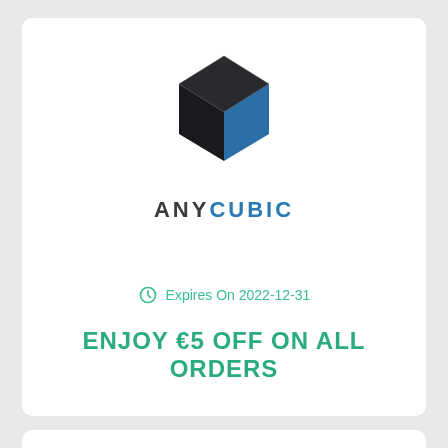[Figure (logo): Anycubic logo - dark 3D cube shape with blue face, with text ANYCUBIC below in dark and blue lettering]
Expires On 2022-12-31
ENJOY €5 OFF ON ALL ORDERS
COPY CODE & VISIT MERCHANT
[Figure (logo): Anycubic logo - partial dark 3D cube shape, bottom of page card]